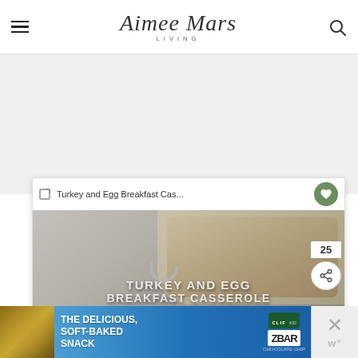Aimee Mars Living — navigation header with hamburger menu and search icon
[Figure (screenshot): Video player showing Turkey and Egg Breakfast Casserole recipe video with title bar, thumbnail, what's next panel, and playback controls showing -1:10 remaining]
[Figure (screenshot): Advertisement banner for Clif Kid ZBar: The Delicious, Soft-Baked Snack with blue background and product image]